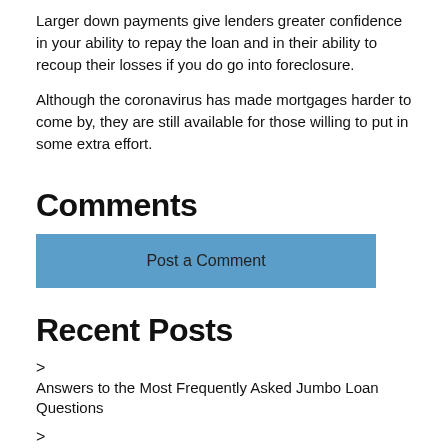Larger down payments give lenders greater confidence in your ability to repay the loan and in their ability to recoup their losses if you do go into foreclosure.
Although the coronavirus has made mortgages harder to come by, they are still available for those willing to put in some extra effort.
Comments
Post a Comment
Recent Posts
Answers to the Most Frequently Asked Jumbo Loan Questions
Your Mortgage Application Document Checklist